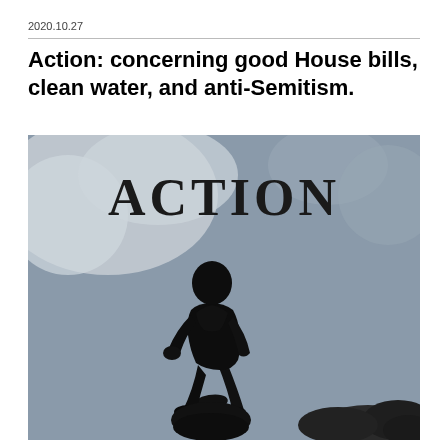2020.10.27
Action: concerning good House bills, clean water, and anti-Semitism.
[Figure (illustration): Silhouette of a person in a suit walking forward, viewed from behind, standing on a dark rocky base. Background is a muted grey-blue sky with lighter cloudy patches on the upper left and dark foliage in the lower right. The word ACTION is displayed in large serif capital letters at the top center of the image.]